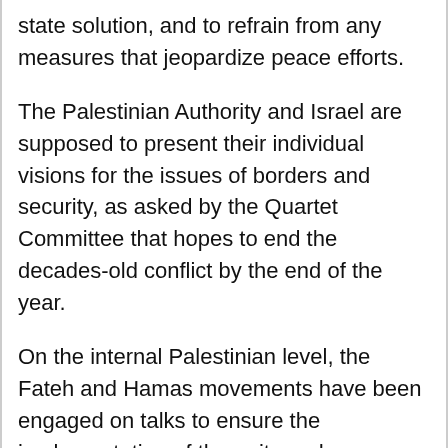state solution, and to refrain from any measures that jeopardize peace efforts.
The Palestinian Authority and Israel are supposed to present their individual visions for the issues of borders and security, as asked by the Quartet Committee that hopes to end the decades-old conflict by the end of the year.
On the internal Palestinian level, the Fateh and Hamas movements have been engaged on talks to ensure the implementation of the unity and reconciliation agreement, in order to achieve real unity on the ground.
Last week, member of the Executive Committee of the Palestinian Liberation